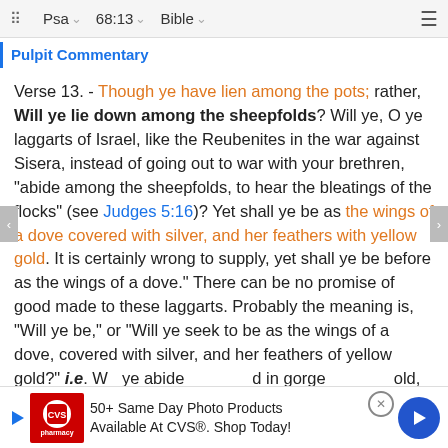Psa  68:13  Bible
Pulpit Commentary
Verse 13. - Though ye have lien among the pots; rather, Will ye lie down among the sheepfolds? Will ye, O ye laggarts of Israel, like the Reubenites in the war against Sisera, instead of going out to war with your brethren, "abide among the sheepfolds, to hear the bleatings of the flocks" (see Judges 5:16)? Yet shall ye be as the wings of a dove covered with silver, and her feathers with yellow gold. It is certainly wrong to supply, yet shall ye be before as the wings of a dove." There can be no promise of good made to these laggarts. Probably the meaning is, "Will ye be," or "Will ye seek to be as the wings of a dove, covered with silver, and her feathers of yellow gold?" i.e. Will ye abide in gorgeous ... old,